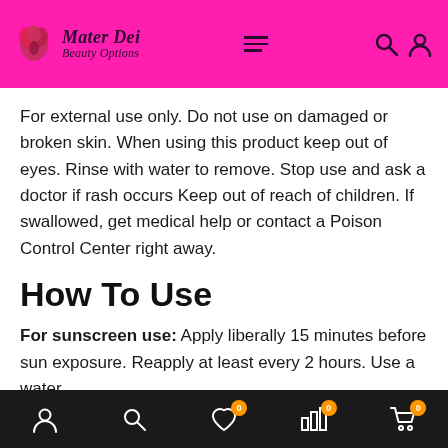Mater Dei Beauty Options
For external use only. Do not use on damaged or broken skin. When using this product keep out of eyes. Rinse with water to remove. Stop use and ask a doctor if rash occurs Keep out of reach of children. If swallowed, get medical help or contact a Poison Control Center right away.
How To Use
For sunscreen use: Apply liberally 15 minutes before sun exposure. Reapply at least every 2 hours. Use a water
Bottom navigation: account, search, wishlist (0), bar chart (0), cart (0)